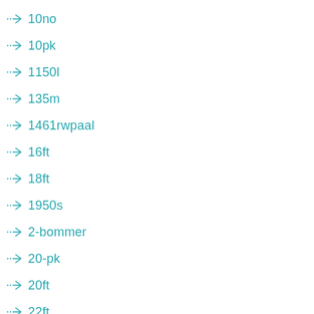10no
10pk
1150l
135m
1461rwpaal
16ft
18ft
1950s
2-bommer
20-pk
20ft
22ft
24ft